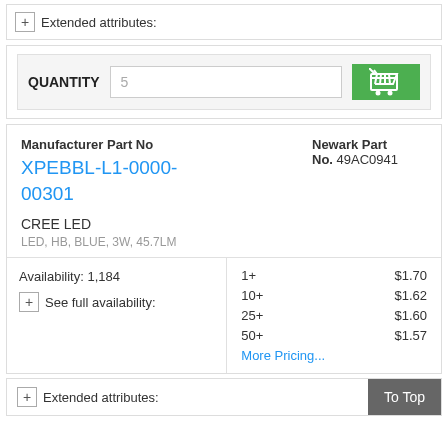+ Extended attributes:
QUANTITY  5
Manufacturer Part No
XPEBBL-L1-0000-00301
Newark Part No. 49AC0941
CREE LED
LED, HB, BLUE, 3W, 45.7LM
| Qty | Price |
| --- | --- |
| 1+ | $1.70 |
| 10+ | $1.62 |
| 25+ | $1.60 |
| 50+ | $1.57 |
More Pricing...
Availability: 1,184
+ See full availability:
+ Extended attributes:
To Top